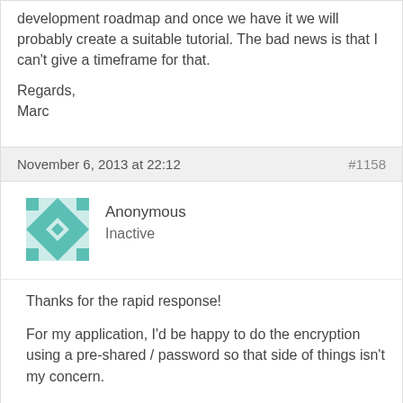development roadmap and once we have it we will probably create a suitable tutorial. The bad news is that I can't give a timeframe for that.

Regards,
Marc
November 6, 2013 at 22:12
#1158
Anonymous
Inactive
Thanks for the rapid response!
For my application, I'd be happy to do the encryption using a pre-shared / password so that side of things isn't my concern.
What I'm more interested in is how I can generate some kind of token on successful login and then somehow have that token included in future packets to show authenticity. Are there any custom header fields, for example?
I found a tutorial online that just about blew my brains (it